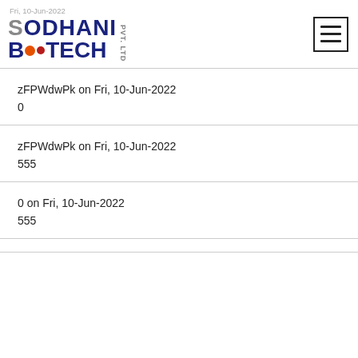Sodhani Biotech Pvt. Ltd. — Fri 10-Jun-2022
zFPWdwPk on Fri, 10-Jun-2022
0
zFPWdwPk on Fri, 10-Jun-2022
555
0 on Fri, 10-Jun-2022
555